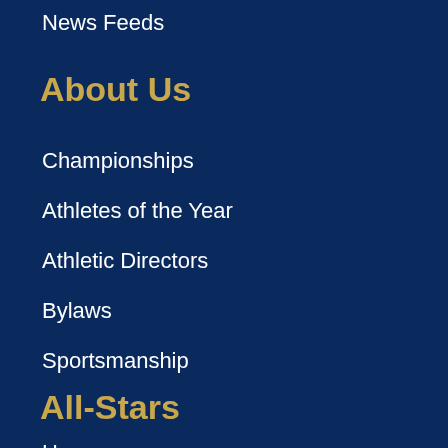News Feeds
About Us
Championships
Athletes of the Year
Athletic Directors
Bylaws
Sportsmanship
All-Stars
Home